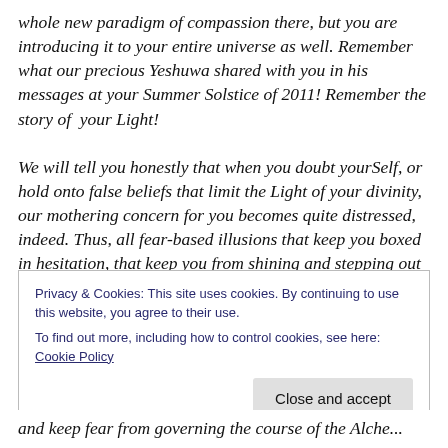whole new paradigm of compassion there, but you are introducing it to your entire universe as well. Remember what our precious Yeshuwa shared with you in his messages at your Summer Solstice of 2011! Remember the story of your Light!

We will tell you honestly that when you doubt yourSelf, or hold onto false beliefs that limit the Light of your divinity, our mothering concern for you becomes quite distressed, indeed. Thus, all fear-based illusions that keep you boxed in hesitation, that keep you from shining and stepping out
Privacy & Cookies: This site uses cookies. By continuing to use this website, you agree to their use.
To find out more, including how to control cookies, see here: Cookie Policy
Close and accept
and keep fear from governing the course of the Alche...